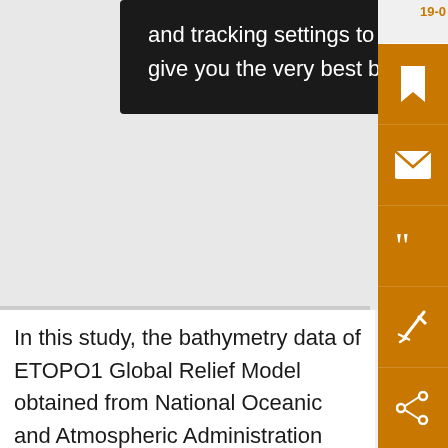and tracking settings to store information that help give you the very best browsing experience.
In this study, the bathymetry data of ETOPO1 Global Relief Model obtained from National Oceanic and Atmospheric Administration (NOAA)/National Centers for Environmental Information (https://ngdc.noaa.gov/mgg/global/global.html) are used to derive the water depths of the sections of the shipboard ADCP